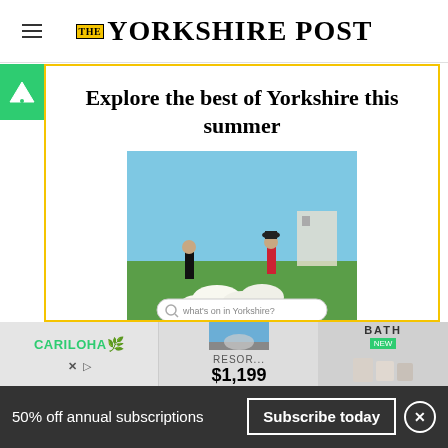THE YORKSHIRE POST
Explore the best of Yorkshire this summer
[Figure (photo): Two people dancing/posing in a field with sheep, with a search bar overlay reading 'what's on in Yorkshire?']
Subscribe today and get 50% off an
[Figure (infographic): Advertisement banner with Cariloha logo, resort image with price $1,199, and bath products]
with The Yorkshire Post
50% off annual subscriptions
Subscribe today